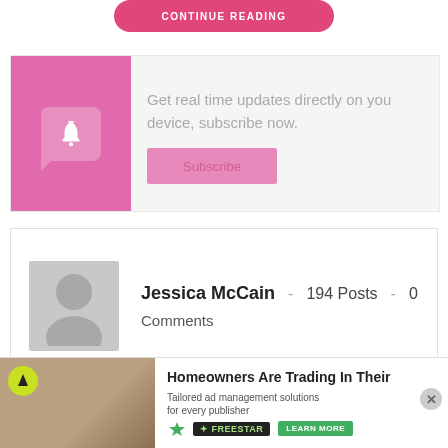[Figure (other): Pink rounded button with white uppercase text 'CONTINUE READING']
[Figure (other): Subscription prompt box with pink left panel containing bell icon in speech bubble, and text 'Get real time updates directly on you device, subscribe now.' with a pink Subscribe button]
Get real time updates directly on you device, subscribe now.
[Figure (other): Author card showing avatar placeholder, name Jessica McCain, 194 Posts, 0 Comments]
Jessica McCain - 194 Posts - 0 Comments
[Figure (infographic): Advertisement banner: Homeowners Are Trading In Their... with Freestar branding and Learn More button, and a Tailored ad management solutions for every publisher graphic]